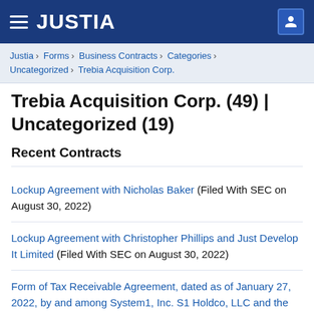JUSTIA
Justia › Forms › Business Contracts › Categories › Uncategorized › Trebia Acquisition Corp.
Trebia Acquisition Corp. (49) | Uncategorized (19)
Recent Contracts
Lockup Agreement with Nicholas Baker (Filed With SEC on August 30, 2022)
Lockup Agreement with Christopher Phillips and Just Develop It Limited (Filed With SEC on August 30, 2022)
Form of Tax Receivable Agreement, dated as of January 27, 2022, by and among System1, Inc. S1 Holdco, LLC and the other signatories thereto (Filed With SEC on